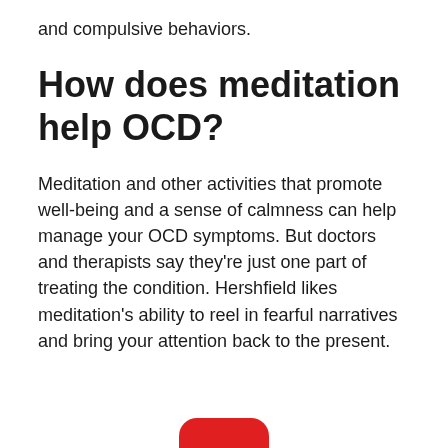and compulsive behaviors.
How does meditation help OCD?
Meditation and other activities that promote well-being and a sense of calmness can help manage your OCD symptoms. But doctors and therapists say they're just one part of treating the condition. Hershfield likes meditation's ability to reel in fearful narratives and bring your attention back to the present.